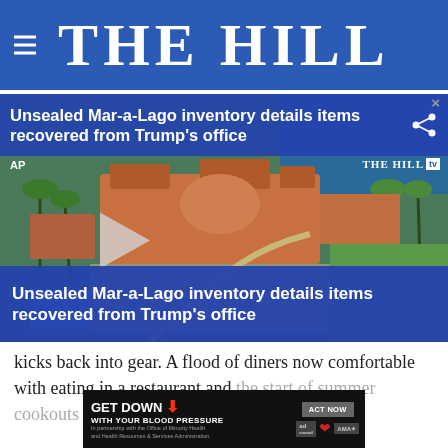THE HILL
[Figure (screenshot): Video thumbnail showing aerial view of Mar-a-Lago estate with overlaid headlines: 'Unsealed Mar-a-Lago inventory details items recovered from Trump's office' on blue overlay bar at top and bottom. THE HILL tv logo top right. AP badge top left. Play button in center.]
kicks back into gear. A flood of diners now comfortable with eating in a restaurant and the start of summer cookouts has boosted pressure [x] meat prices [ad banner] JBS attack
[Figure (infographic): GET DOWN WITH YOUR BLOOD PRESSURE advertisement banner with ACT NOW button and ad council / AHA / AMA logos]